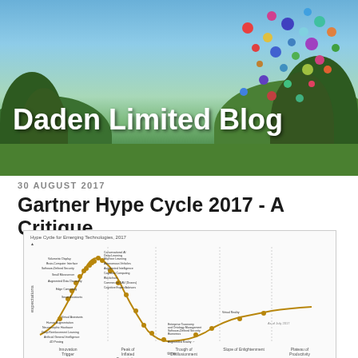Daden Limited Blog
30 AUGUST 2017
Gartner Hype Cycle 2017 - A Critique
[Figure (other): Gartner Hype Cycle for Emerging Technologies 2017 chart showing technologies plotted along the hype cycle curve with axes: expectations vs time, and phases: Innovation Trigger, Peak of Inflated Expectations, Trough of Disillusionment, Slope of Enlightenment, Plateau of Productivity. Years to mainstream adoption legend shown.]
Every year the Gartner Group (well known tech analysts) publish their "hype-cycle" - showing whereabouts emergent